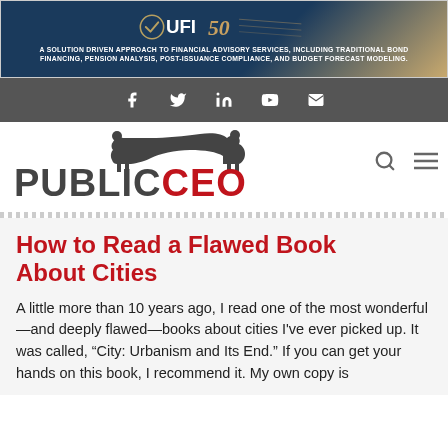[Figure (logo): UFI 50 banner advertisement - A solution driven approach to financial advisory services, including traditional bond financing, pension analysis, post-issuance compliance, and budget forecast modeling.]
Social media icons: Facebook, Twitter, LinkedIn, YouTube, Email
[Figure (logo): PublicCEO logo with bear icon, search and menu icons]
How to Read a Flawed Book About Cities
A little more than 10 years ago, I read one of the most wonderful—and deeply flawed—books about cities I've ever picked up. It was called, “City: Urbanism and Its End.” If you can get your hands on this book, I recommend it. My own copy is